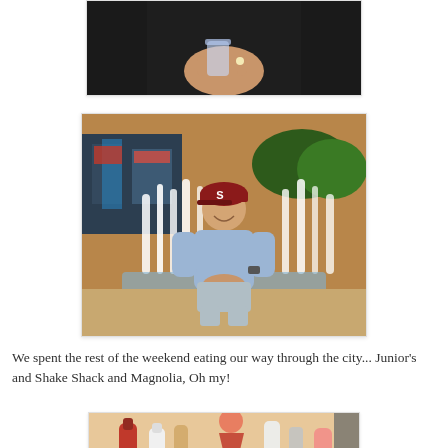[Figure (photo): Partial photo at top of page showing a person holding a drink/glass, wearing dark clothing, cropped to show torso and hands only]
[Figure (photo): Photo of a young man wearing a red Stanford cap and light blue polo shirt, sitting in front of a large fountain, smiling at camera, city buildings visible in background]
We spent the rest of the weekend eating our way through the city... Junior's and Shake Shack and Magnolia, Oh my!
[Figure (photo): Photo of a restaurant/bar table with various condiment bottles, a red cocktail glass, and other items, partially cropped at bottom of page]